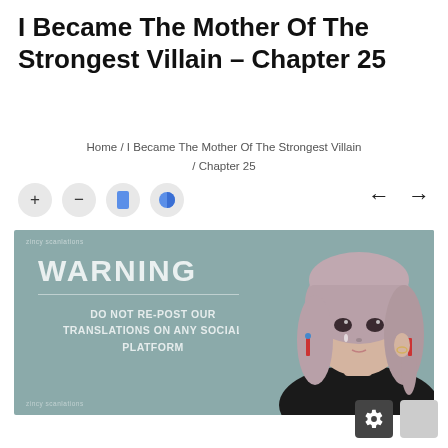I Became The Mother Of The Strongest Villain - Chapter 25
Home / I Became The Mother Of The Strongest Villain / Chapter 25
[Figure (illustration): Manga/anime style warning banner featuring a girl with short brown hair, blue earrings, and a black off-shoulder top on a teal/muted green background. Warning text reads: 'WARNING' and 'DO NOT RE-POST OUR TRANSLATIONS ON ANY SOCIAL PLATFORM']